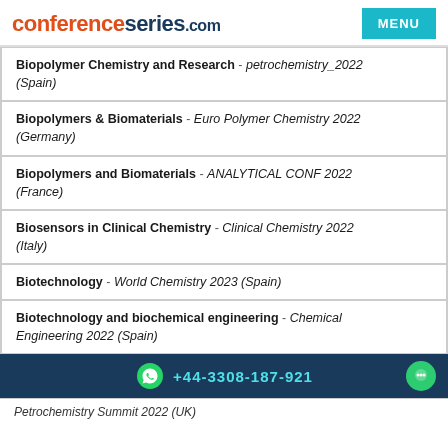conferenceseries.com
Biopolymer Chemistry and Research - petrochemistry_2022 (Spain)
Biopolymers & Biomaterials - Euro Polymer Chemistry 2022 (Germany)
Biopolymers and Biomaterials - ANALYTICAL CONF 2022 (France)
Biosensors in Clinical Chemistry - Clinical Chemistry 2022 (Italy)
Biotechnology - World Chemistry 2023 (Spain)
Biotechnology and biochemical engineering - Chemical Engineering 2022 (Spain)
+44-3308-187-921
Petrochemistry Summit 2022 (UK)